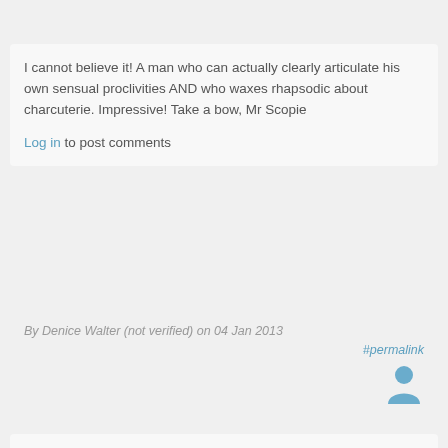I cannot believe it! A man who can actually clearly articulate his own sensual proclivities AND who waxes rhapsodic about charcuterie. Impressive! Take a bow, Mr Scopie
Log in to post comments
By Denice Walter (not verified) on 04 Jan 2013
#permalink
[Figure (illustration): Generic user avatar icon in blue-grey color]
The town of Gilroy, California has an annual garlic festival. I used to eat at a roadside cafe in Gilroy once in a while (long since gone out of business) that really could be described as mixing a little grilled chicken in with the garlic. Doing a quick internet search, I find that the Gilroy festival will do its 35th edition this July.
Re ED treatments: The standard 2 pills inhibit the